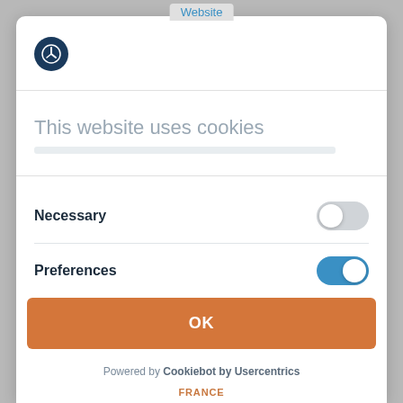Website
[Figure (logo): Dark blue circular logo with a white clock/compass-like icon]
This website uses cookies
Necessary — toggle off (grey)
Preferences — toggle on (blue)
Statistics — toggle on (blue, partially visible)
OK
Powered by Cookiebot by Usercentrics
FRANCE